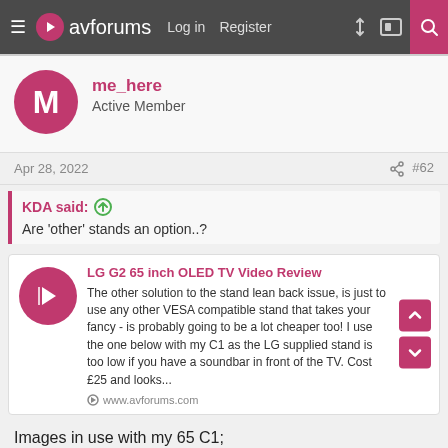avforums — Log in  Register
me_here
Active Member
Apr 28, 2022  #62
KDA said:
Are 'other' stands an option..?
LG G2 65 inch OLED TV Video Review
The other solution to the stand lean back issue, is just to use any other VESA compatible stand that takes your fancy - is probably going to be a lot cheaper too! I use the one below with my C1 as the LG supplied stand is too low if you have a soundbar in front of the TV. Cost £25 and looks...
www.avforums.com
Images in use with my 65 C1;